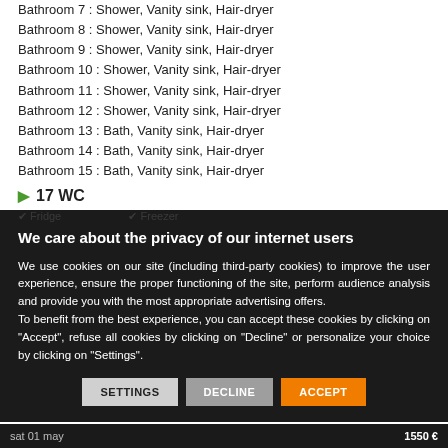Bathroom 7 : Shower, Vanity sink, Hair-dryer
Bathroom 8 : Shower, Vanity sink, Hair-dryer
Bathroom 9 : Shower, Vanity sink, Hair-dryer
Bathroom 10 : Shower, Vanity sink, Hair-dryer
Bathroom 11 : Shower, Vanity sink, Hair-dryer
Bathroom 12 : Shower, Vanity sink, Hair-dryer
Bathroom 13 : Bath, Vanity sink, Hair-dryer
Bathroom 14 : Bath, Vanity sink, Hair-dryer
Bathroom 15 : Bath, Vanity sink, Hair-dryer
▶ 17 WC
We care about the privacy of our internet users
We use cookies on our site (including third-party cookies) to improve the user experience, ensure the proper functioning of the site, perform audience analysis and provide you with the most appropriate advertising offers.
To benefit from the best experience, you can accept these cookies by clicking on "Accept", refuse all cookies by clicking on "Decline" or personalize your choice by clicking on "Settings".
SETTINGS  DECLINE  ACCEPT
sat 01 may          1550 €